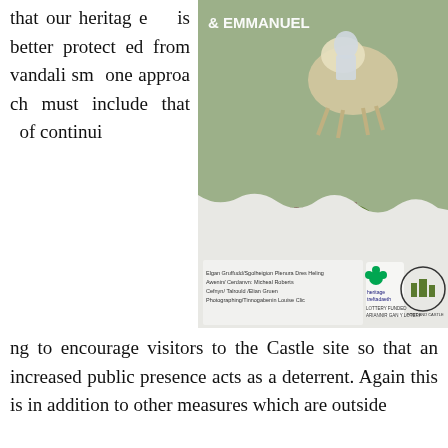that our heritage is better protected from vandalism one approach must include that of continuing to encourage visitors to the Castle site so that an increased public presence acts as a deterrent. Again this is in addition to other measures which are outside
[Figure (illustration): Illustration showing a knight on horseback (top) and ruins of a castle in a landscape (bottom), with Heritage Lottery Fund logo and other branding. Text reads '& EMMANUEL' at top. Bottom text includes credits and 'LOTTERY FUNDED ARIANNIR GAN Y LOTERI'.]